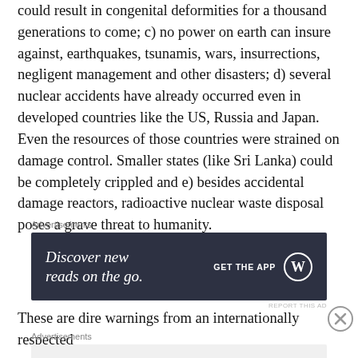could result in congenital deformities for a thousand generations to come; c) no power on earth can insure against, earthquakes, tsunamis, wars, insurrections, negligent management and other disasters; d) several nuclear accidents have already occurred even in developed countries like the US, Russia and Japan. Even the resources of those countries were strained on damage control. Smaller states (like Sri Lanka) could be completely crippled and e) besides accidental damage reactors, radioactive nuclear waste disposal poses a grave threat to humanity.
[Figure (other): WordPress advertisement banner: 'Discover new reads on the go. GET THE APP [WordPress logo]' on dark background]
These are dire warnings from an internationally respected